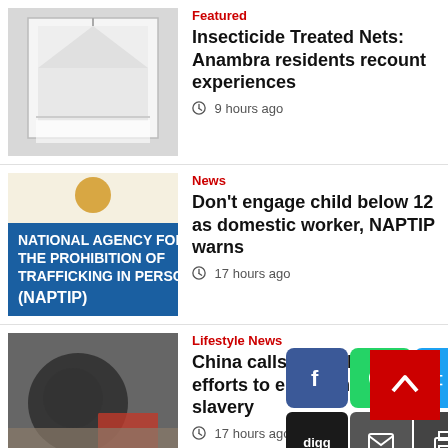[Figure (photo): Insecticide treated mosquito net (white canopy)]
Featured
Insecticide Treated Nets: Anambra residents recount experiences
9 hours ago
[Figure (photo): NAPTIP signboard]
News
Don't engage child below 12 as domestic worker, NAPTIP warns
17 hours ago
[Figure (photo): Person washing dishes]
Lifestyle  News
China calls for collaborative efforts to end domestic staff slavery
17 hours ago
[Figure (logo): TUC logo circular green red white]
News
Subsidy removal: FG needs to win trust of Nigerians, says NLC President
17 hours ago
[Figure (screenshot): Social share buttons: Facebook, WhatsApp, Twitter, LinkedIn, Messenger, Digg, Email, Print]